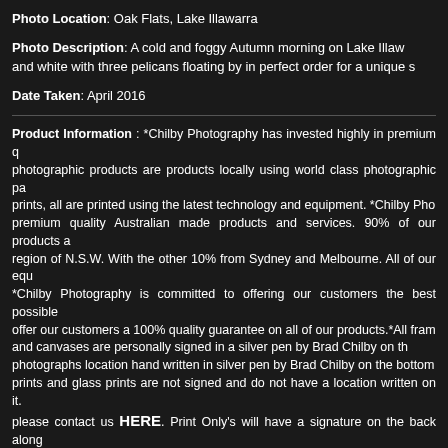Photo Location: Oak Flats, Lake Illawarra
Photo Description: A cold and foggy Autumn morning on Lake Illawarra and white with three pelicans floating by in perfect order for a unique s
Date Taken: April 2016
Product Information : *Chilby Photography has invested highly in premium quality photographic products are products locally using world class photographic pa prints, all are printed using the latest technology and equipment. *Chilby Pho premium quality Australian made products and services. 90% of our products a region of N.S.W. With the other 10% from Sydney and Melbourne. All of our equ *Chilby Photography is committed to offering our customers the best possible offer our customers a 100% quality guarantee on all of our products.*All fram and canvases are personally signed in a silver pen by Brad Chilby on th photographs location hand written in silver pen by Brad Chilby on the bottom prints and glass prints are not signed and do not have a location written on it. please contact us HERE. Print Only's will have a signature on the back along pencil. *All framed and matted prints and matted prints have the best matchin photograph. This will either be off white, white or vivid white. If you purcha themed colour that suits all photographs the best. *If you would like a matting do grey, black and a variety of other colours, but you will need to contact us can also do double matting with two different coloured mats overlaid but an ad us HERE to add a double mat to your photograph. All framed and matted p